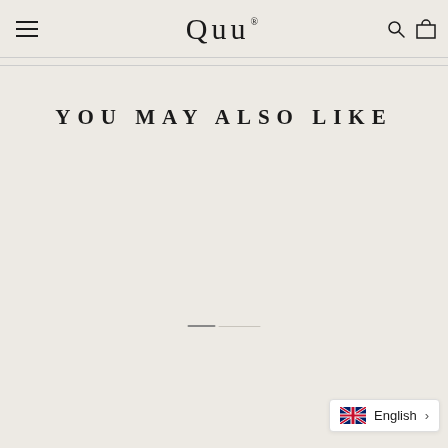QUU® — site header with hamburger menu, logo, search and cart icons
YOU MAY ALSO LIKE
[Figure (other): Carousel pagination bar — one short dark active segment followed by a longer light inactive segment]
English (language selector with UK flag)